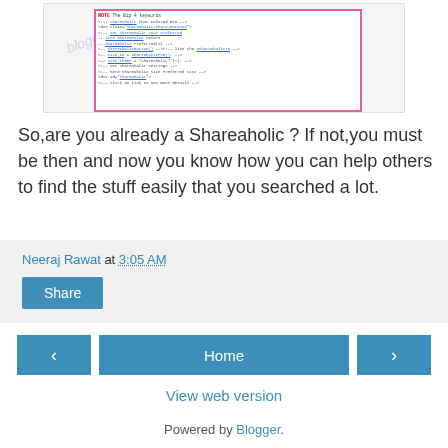[Figure (screenshot): Screenshot of a blog page showing code with a pink/magenta bordered code block, with watermark text overlay]
So,are you already a Shareaholic ? If not,you must be then and now you know how you can help others to find the stuff easily that you searched a lot.
Neeraj Rawat at 3:05 AM
Share
Home
View web version
Powered by Blogger.